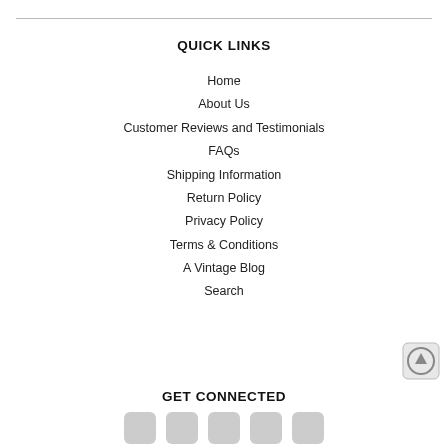QUICK LINKS
Home
About Us
Customer Reviews and Testimonials
FAQs
Shipping Information
Return Policy
Privacy Policy
Terms & Conditions
A Vintage Blog
Search
GET CONNECTED
[Figure (illustration): Row of social media icon buttons at bottom of page]
[Figure (illustration): Scroll-to-top circular arrow button at bottom right]